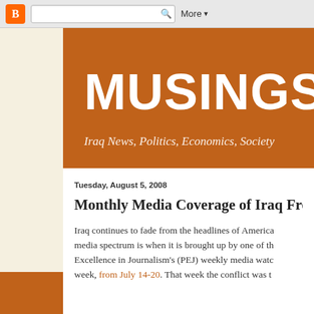[Figure (screenshot): Browser toolbar with Blogger icon, search box, and More dropdown button]
MUSINGS O
Iraq News, Politics, Economics, Society
Tuesday, August 5, 2008
Monthly Media Coverage of Iraq From Ju
Iraq continues to fade from the headlines of America media spectrum is when it is brought up by one of th Excellence in Journalism's (PEJ) weekly media watc week, from July 14-20. That week the conflict was t